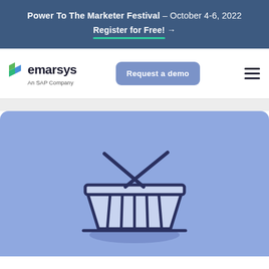Power To The Marketer Festival – October 4-6, 2022
Register for Free! →
[Figure (logo): Emarsys logo (green S icon) with text 'emarsys An SAP Company']
Request a demo
[Figure (illustration): Shopping basket icon on a blue/periwinkle background with handles crossed over the top]